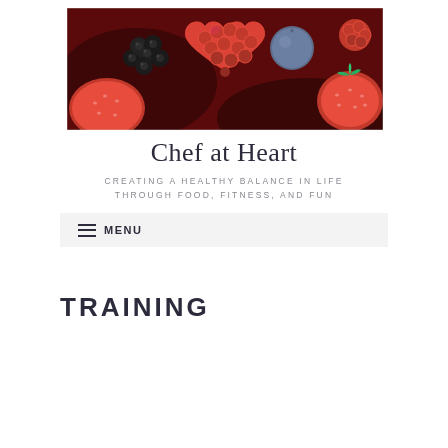[Figure (photo): Close-up photograph of mixed berries including blackberries, raspberries (one shaped like a heart), blueberries, and strawberries on a dark background]
Chef at Heart
CREATING A HEALTHY BALANCE IN LIFE THROUGH FOOD, FITNESS, AND FUN
≡ MENU
TRAINING